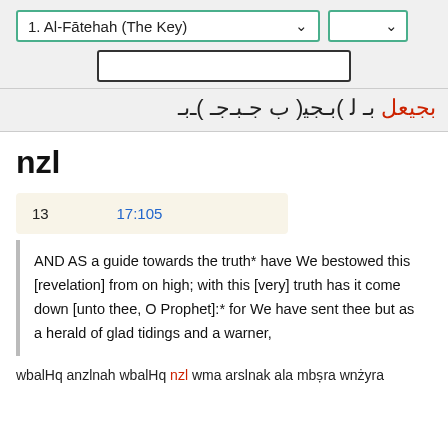1. Al-Fātehah (The Key)
[Figure (screenshot): Arabic text row in red and black, right-to-left]
nzl
13    17:105
AND AS a guide towards the truth* have We bestowed this [revelation] from on high; with this [very] truth has it come down [unto thee, O Prophet]:* for We have sent thee but as a herald of glad tidings and a warner,
wbalHq anzlnah wbalHq nzl wma arslnak ala mbṣra wnżyra